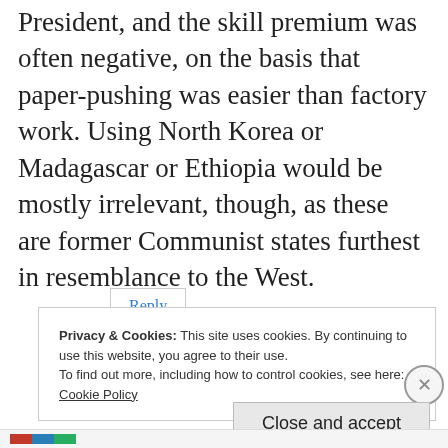President, and the skill premium was often negative, on the basis that paper-pushing was easier than factory work. Using North Korea or Madagascar or Ethiopia would be mostly irrelevant, though, as these are former Communist states furthest in resemblance to the West.
Reply
Privacy & Cookies: This site uses cookies. By continuing to use this website, you agree to their use.
To find out more, including how to control cookies, see here:
Cookie Policy
Close and accept